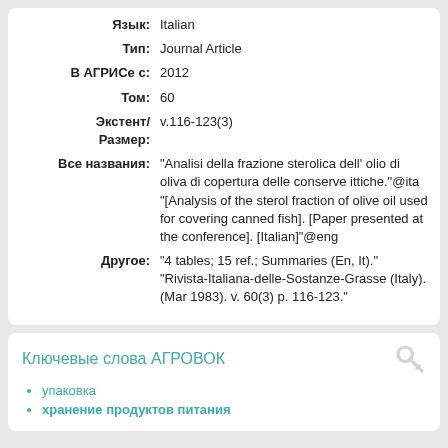| Label | Value |
| --- | --- |
| Язык: | Italian |
| Тип: | Journal Article |
| В АГРИСе с: | 2012 |
| Том: | 60 |
| Экстент/ Размер: | v.116-123(3) |
| Все названия: | "Analisi della frazione sterolica dell' olio di oliva di copertura delle conserve ittiche."@ita "[Analysis of the sterol fraction of olive oil used for covering canned fish]. [Paper presented at the conference]. [Italian]"@eng |
| Другое: | "4 tables; 15 ref.; Summaries (En, It)." "Rivista-Italiana-delle-Sostanze-Grasse (Italy). (Mar 1983). v. 60(3) p. 116-123." |
Ключевые слова АГРОВОК
упаковка
хранение продуктов питания